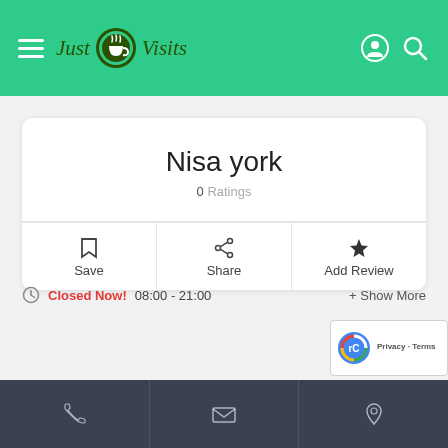[Figure (logo): Just Visits logo with coffee cup icon on green header bar]
Nisa york
0 Ratings
Save
Share
Add Review
Closed Now! 08:00 - 21:00   + Show More
[Figure (screenshot): Bottom navigation bar with phone, email, and location icons on dark background]